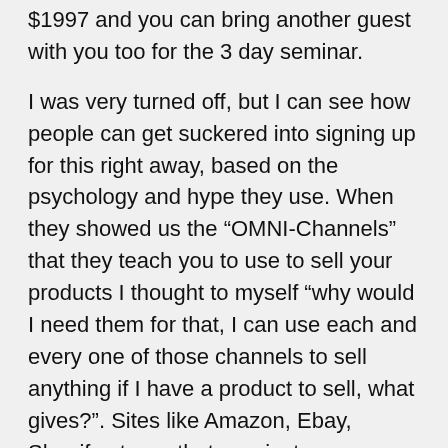$1997 and you can bring another guest with you too for the 3 day seminar.
I was very turned off, but I can see how people can get suckered into signing up for this right away, based on the psychology and hype they use. When they showed us the “OMNI-Channels” that they teach you to use to sell your products I thought to myself “why would I need them for that, I can use each and every one of those channels to sell anything if I have a product to sell, what gives?”. Sites like Amazon, Ebay, Shopify etc.…. that was just one example of what I suspected one would get at the 3-day seminar (not much at all in my estimation).